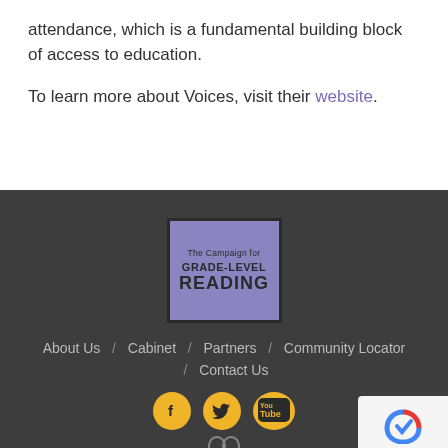attendance, which is a fundamental building block of access to education.
To learn more about Voices, visit their website.
[Figure (logo): The Campaign for Grade-Level Reading logo — purple background with bold text]
About Us / Cabinet / Partners / Community Locator / Contact Us
[Figure (infographic): Social media icons: Facebook, Twitter, YouTube — yellow circles on dark background, plus reCAPTCHA badge]